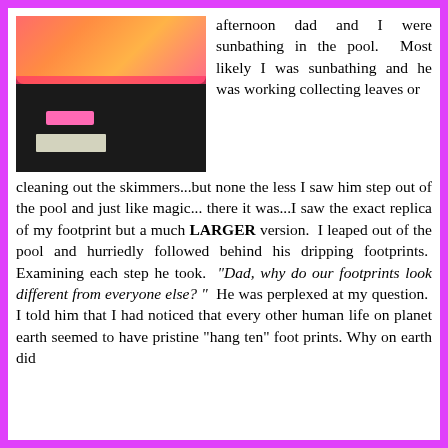[Figure (photo): Photo of a pink/orange athletic shoe on top of a dark shoe box with a pink sticker label]
afternoon dad and I were sunbathing in the pool. Most likely I was sunbathing and he was working collecting leaves or cleaning out the skimmers...but none the less I saw him step out of the pool and just like magic...there it was...I saw the exact replica of my footprint but a much LARGER version. I leaped out of the pool and hurriedly followed behind his dripping footprints. Examining each step he took. “Dad, why do our footprints look different from everyone else? ” He was perplexed at my question. I told him that I had noticed that every other human life on planet earth seemed to have pristine “hang ten” foot prints. Why on earth did